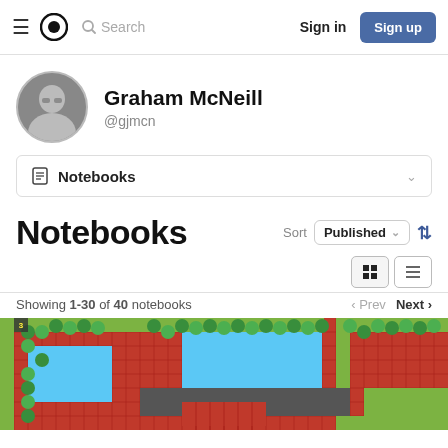Sign in | Sign up — Observable navigation bar
[Figure (photo): Graham McNeill profile photo — black and white circular avatar]
Graham McNeill
@gjmcn
Notebooks
Notebooks
Sort Published
Showing 1-30 of 40 notebooks
Prev  Next
[Figure (screenshot): Top portion of a notebook thumbnail showing a colorful grid map with green trees, red tiles, and a blue rectangle area on a dark background]